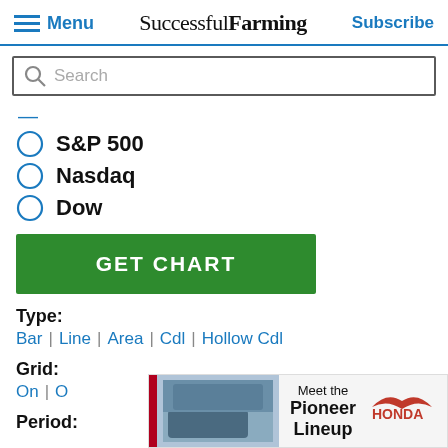Menu | Successful Farming | Subscribe
Search
—
S&P 500
Nasdaq
Dow
GET CHART
Type:
Bar | Line | Area | Cdl | Hollow Cdl
Grid:
On | Off
Period:
[Figure (photo): Honda Pioneer Lineup advertisement banner with ATV image and Honda logo]